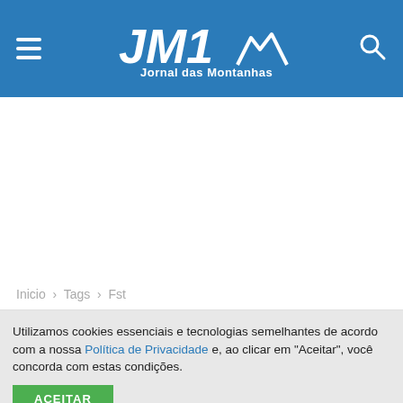JM1 Jornal das Montanhas
Inicio › Tags › Fst
Utilizamos cookies essenciais e tecnologias semelhantes de acordo com a nossa Política de Privacidade e, ao clicar em "Aceitar", você concorda com estas condições.
ACEITAR